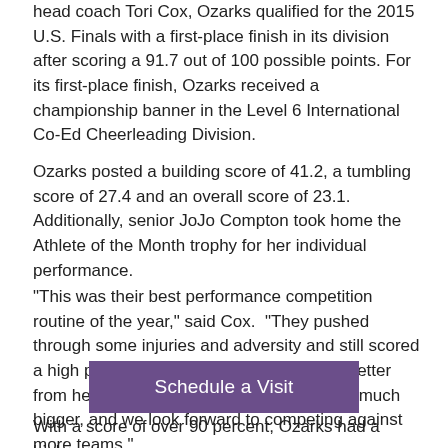head coach Tori Cox, Ozarks qualified for the 2015 U.S. Finals with a first-place finish in its division after scoring a 91.7 out of 100 possible points. For its first-place finish, Ozarks received a championship banner in the Level 6 International Co-Ed Cheerleading Division.
Ozarks posted a building score of 41.2, a tumbling score of 27.4 and an overall score of 23.1. Additionally, senior JoJo Compton took home the Athlete of the Month trophy for her individual performance.
"This was their best performance competition routine of the year," said Cox.  "They pushed through some injuries and adversity and still scored a high percentage. I think we will only get better from here. The next three competitions are much bigger, and we look forward to competing against more teams."
[Figure (other): Purple button labeled 'Schedule a Visit']
With a score of over 90 percent, Ozarks had a higher